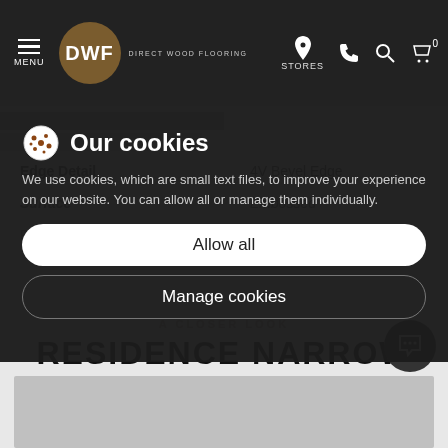MENU | DWF Direct Wood Flooring | STORES
| Property | Value |
| --- | --- |
| Edge Detail | 4V Bevel Edge |
| Surface | Embossed |
| Pack Content | 6 boards |
🍪 Our cookies
We use cookies, which are small text files, to improve your experience on our website. You can allow all or manage them individually.
Allow all
Manage cookies
A CLOSER LOOK
RESIDENCE NARROW